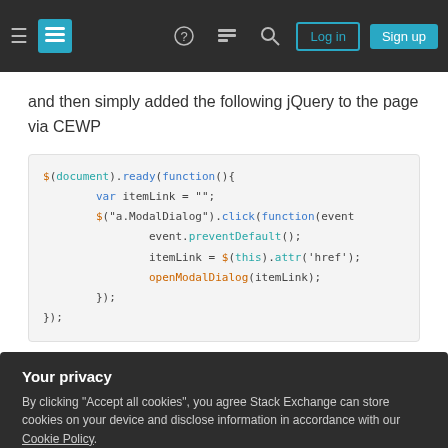Stack Exchange navigation bar with Log in and Sign up buttons
and then simply added the following jQuery to the page via CEWP
[Figure (screenshot): Code block showing jQuery: $(document).ready(function(){ var itemLink = ""; $("a.ModalDialog").click(function(event){ event.preventDefault(); itemLink = $(this).attr('href'); openModalDialog(itemLink); }); });]
Your privacy
By clicking "Accept all cookies", you agree Stack Exchange can store cookies on your device and disclose information in accordance with our Cookie Policy.
Accept all cookies  Customize settings